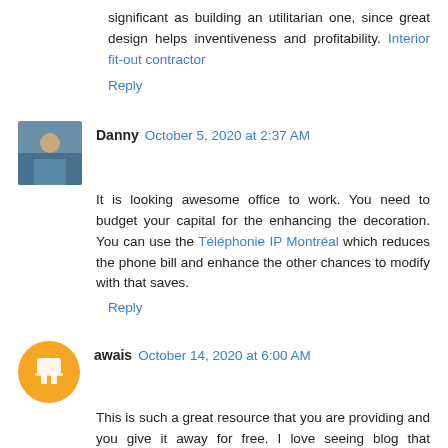significant as building an utilitarian one, since great design helps inventiveness and profitability. Interior fit-out contractor
Reply
Danny October 5, 2020 at 2:37 AM
It is looking awesome office to work. You need to budget your capital for the enhancing the decoration. You can use the Téléphonie IP Montréal which reduces the phone bill and enhance the other chances to modify with that saves.
Reply
awais October 14, 2020 at 6:00 AM
This is such a great resource that you are providing and you give it away for free. I love seeing blog that understand the value of providing a quality resource for free. Buy office chair online with cost below 5000 rupees
Reply